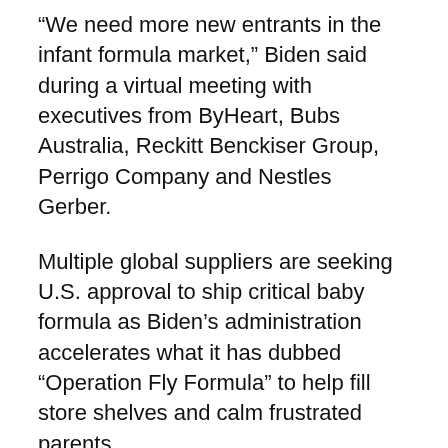“We need more new entrants in the infant formula market,” Biden said during a virtual meeting with executives from ByHeart, Bubs Australia, Reckitt Benckiser Group, Perrigo Company and Nestles Gerber.
Multiple global suppliers are seeking U.S. approval to ship critical baby formula as Biden’s administration accelerates what it has dubbed “Operation Fly Formula” to help fill store shelves and calm frustrated parents.
With about $4 billion in annual sales, the U.S. baby formula market has historically